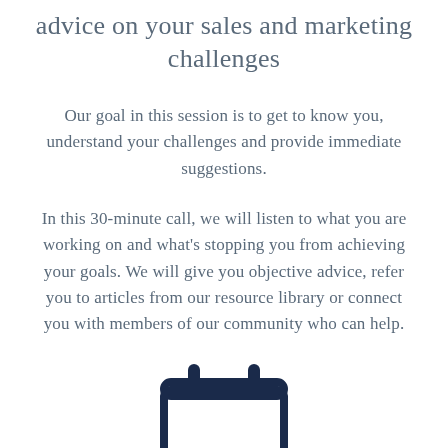advice on your sales and marketing challenges
Our goal in this session is to get to know you, understand your challenges and provide immediate suggestions.
In this 30-minute call, we will listen to what you are working on and what's stopping you from achieving your goals. We will give you objective advice, refer you to articles from our resource library or connect you with members of our community who can help.
[Figure (illustration): Calendar/clipboard icon in dark navy blue, partially visible at bottom of page]